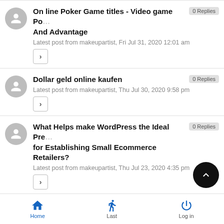On line Poker Game titles - Video game Po... And Advantage
Latest post from makeupartist, Fri Jul 31, 2020 12:01 am
0 Replies
Dollar geld online kaufen
Latest post from makeupartist, Thu Jul 30, 2020 9:58 pm
0 Replies
What Helps make WordPress the Ideal Pre... for Establishing Small Ecommerce Retailers?
Latest post from makeupartist, Thu Jul 23, 2020 4:35 pm
0 Replies
Produce Your E-Commerce Shop on Word...
Latest post from makeupartist, Thu Jul 23, 2020 3:5...
0 R...
Home  Last  Log in